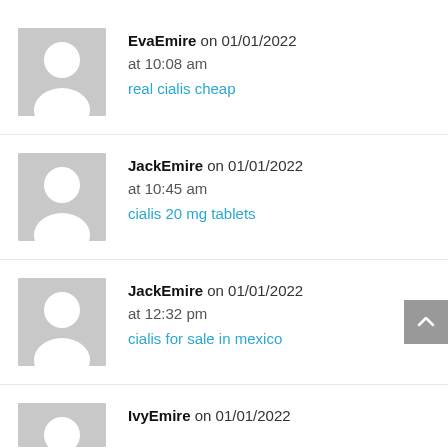EvaEmire on 01/01/2022 at 10:08 am
real cialis cheap
JackEmire on 01/01/2022 at 10:45 am
cialis 20 mg tablets
JackEmire on 01/01/2022 at 12:32 pm
cialis for sale in mexico
IvyEmire on 01/01/2022